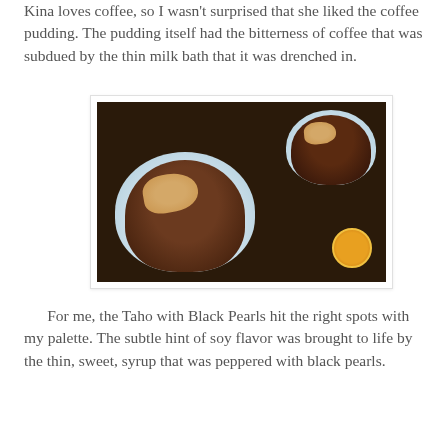Kina loves coffee, so I wasn't surprised that she liked the coffee pudding. The pudding itself had the bitterness of coffee that was subdued by the thin milk bath that it was drenched in.
[Figure (photo): Photo of two white and blue ceramic bowls containing coffee pudding topped with black pearls (tapioca/boba), served in a dark syrup, on a dark wooden surface. A small logo badge is visible in the bottom right corner.]
For me, the Taho with Black Pearls hit the right spots with my palette. The subtle hint of soy flavor was brought to life by the thin, sweet, syrup that was peppered with black pearls.